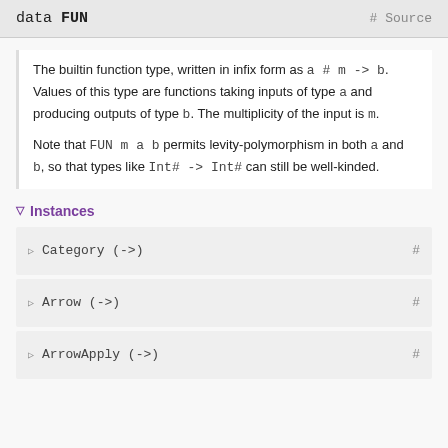data FUN   # Source
The builtin function type, written in infix form as a # m -> b. Values of this type are functions taking inputs of type a and producing outputs of type b. The multiplicity of the input is m.

Note that FUN m a b permits levity-polymorphism in both a and b, so that types like Int# -> Int# can still be well-kinded.
▽ Instances
▷ Category (->)   #
▷ Arrow (->)   #
▷ ArrowApply (->)   #